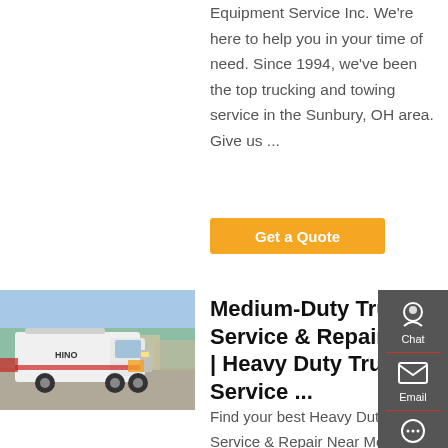Equipment Service Inc. We're here to help you in your time of need. Since 1994, we've been the top trucking and towing service in the Sunbury, OH area. Give us ...
Get a Quote
[Figure (photo): White heavy-duty truck parked in a lot with buildings and trees in background]
Medium-Duty Truck Service & Repair Ct | Heavy Duty Truck Service ...
Find your best Heavy Duty Truck Service & Repair Near Me. –